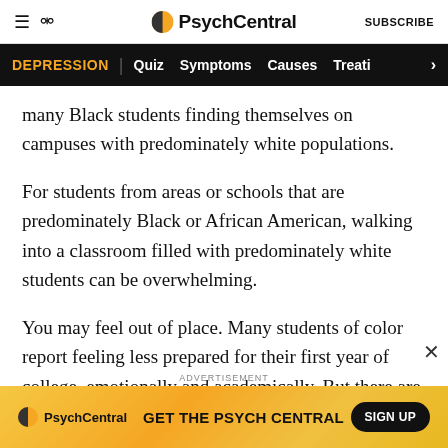PsychCentral
DEPRESSION | Quiz  Symptoms  Causes  Treati >
many Black students finding themselves on campuses with predominately white populations.
For students from areas or schools that are predominately Black or African American, walking into a classroom filled with predominately white students can be overwhelming.
You may feel out of place. Many students of color report feeling less prepared for their first year of college, emotionally and academically. But there are
[Figure (screenshot): PsychCentral advertisement banner: orange gradient background with PsychCentral logo, text 'GET THE PSYCH CENTRAL', and a black 'SIGN UP' button]
ADVERTISEMENT